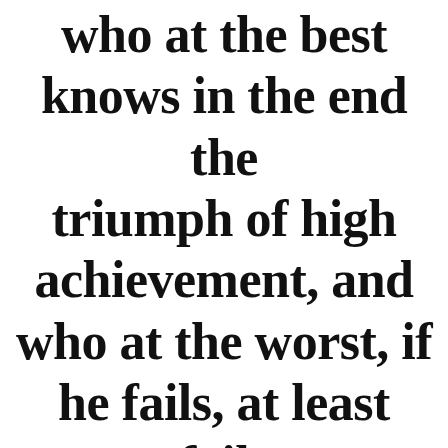who at the best knows in the end the triumph of high achievement, and who at the worst, if he fails, at least fails while daring